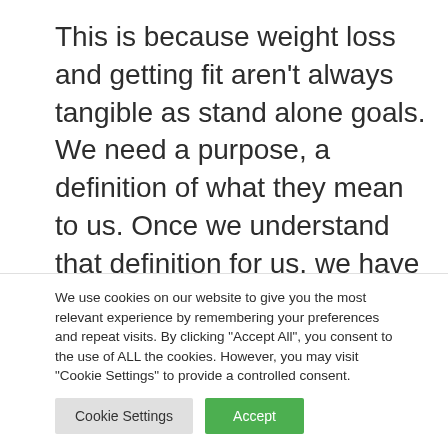This is because weight loss and getting fit aren't always tangible as stand alone goals. We need a purpose, a definition of what they mean to us. Once we understand that definition for us, we have a purpose, know the steps we need to take in order to achieve it and know exactly what the outcome looks like
We use cookies on our website to give you the most relevant experience by remembering your preferences and repeat visits. By clicking "Accept All", you consent to the use of ALL the cookies. However, you may visit "Cookie Settings" to provide a controlled consent.